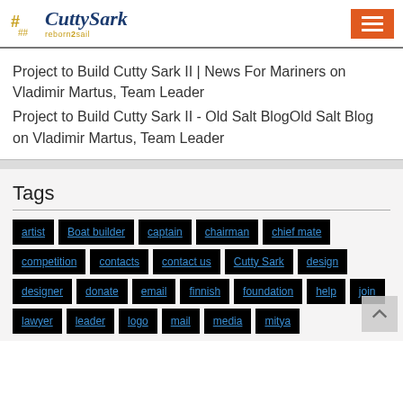Cutty Sark reborn2sail — logo and menu button
Project to Build Cutty Sark II | News For Mariners on Vladimir Martus, Team Leader
Project to Build Cutty Sark II - Old Salt BlogOld Salt Blog on Vladimir Martus, Team Leader
Tags
artist
Boat builder
captain
chairman
chief mate
competition
contacts
contact us
Cutty Sark
design
designer
donate
email
finnish
foundation
help
join
lawyer
leader
logo
mail
media
mitya